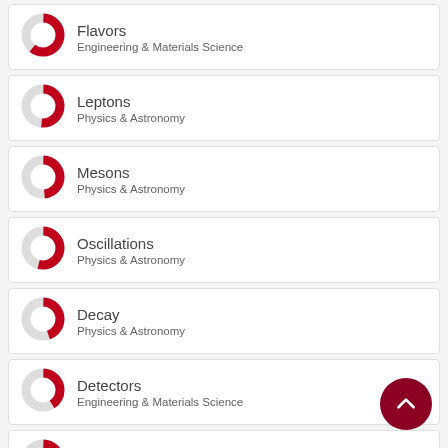Flavors — Engineering & Materials Science
Leptons — Physics & Astronomy
Mesons — Physics & Astronomy
Oscillations — Physics & Astronomy
Decay — Physics & Astronomy
Detectors — Engineering & Materials Science
Experiments — Engineering & Materials Science